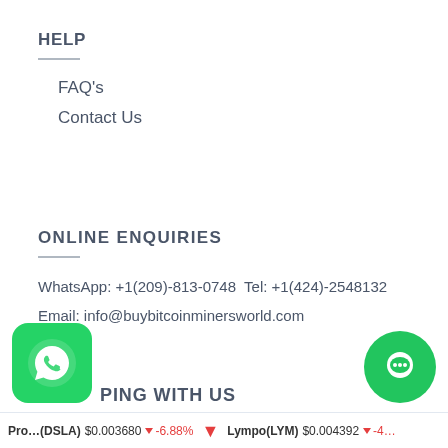HELP
FAQ's
Contact Us
ONLINE ENQUIRIES
WhatsApp: +1(209)-813-0748 Tel: +1(424)-2548132
Email: info@buybitcoinminersworld.com
…PING WITH US
Pro…(DSLA) $0.003680 ↓ -6.88%   Lympo(LYM) $0.004392 ↓ -4…